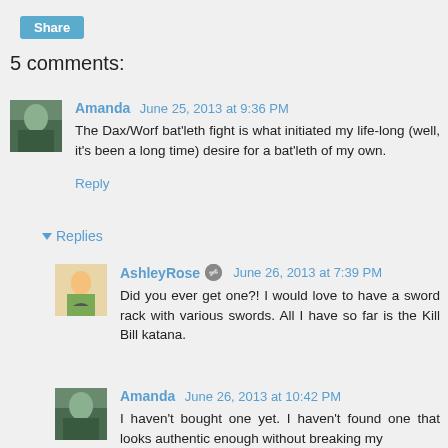Share
5 comments:
Amanda June 25, 2013 at 9:36 PM
The Dax/Worf bat'leth fight is what initiated my life-long (well, it's been a long time) desire for a bat'leth of my own.
Reply
▼ Replies
AshleyRose June 26, 2013 at 7:39 PM
Did you ever get one?! I would love to have a sword rack with various swords. All I have so far is the Kill Bill katana.
Amanda June 26, 2013 at 10:42 PM
I haven't bought one yet. I haven't found one that looks authentic enough without breaking my